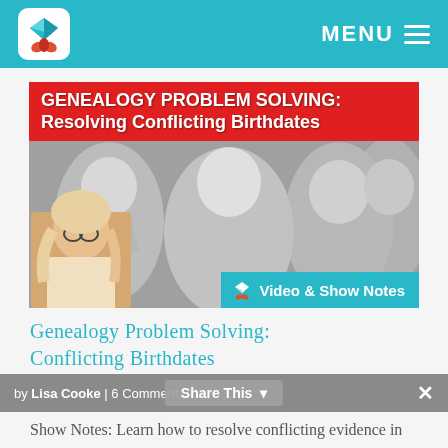MENU
[Figure (illustration): Thumbnail image for genealogy video: black-and-white vintage photo of children with red banner text 'GENEALOGY PROBLEM SOLVING: Resolving Conflicting Birthdates', a woman host inset bottom left, and a teal 'Video & Show Notes' badge bottom right.]
Genealogy Problem Solving: Conflicting Birthdates
by Lisa Cooke | 6 Comments
Share This
Show Notes: Learn how to resolve conflicting evidence in your ancestors' birth